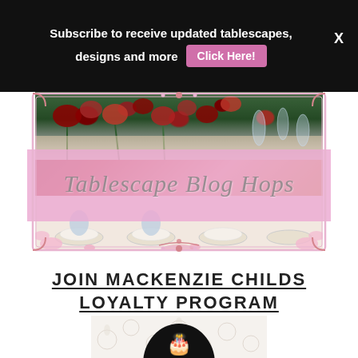Subscribe to receive updated tablescapes, designs and more  Click Here!
[Figure (illustration): Tablescape Blog Hops banner image with roses, decorated dinner table, and ornate pink border with script text]
JOIN MACKENZIE CHILDS LOYALTY PROGRAM
[Figure (illustration): Loyalty program section with decorative floral background and a birthday cake icon in a black semicircle]